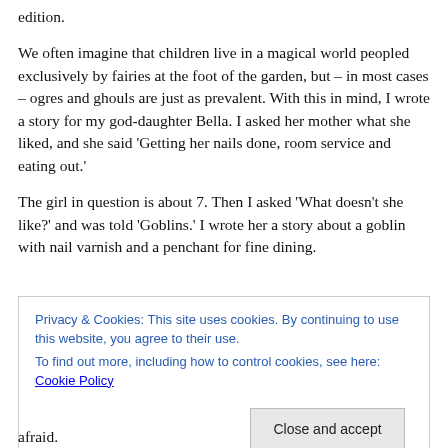edition.
We often imagine that children live in a magical world peopled exclusively by fairies at the foot of the garden, but – in most cases – ogres and ghouls are just as prevalent. With this in mind, I wrote a story for my god-daughter Bella. I asked her mother what she liked, and she said 'Getting her nails done, room service and eating out.'
The girl in question is about 7. Then I asked 'What doesn't she like?' and was told 'Goblins.' I wrote her a story about a goblin with nail varnish and a penchant for fine dining.
Privacy & Cookies: This site uses cookies. By continuing to use this website, you agree to their use.
To find out more, including how to control cookies, see here: Cookie Policy
Close and accept
afraid.